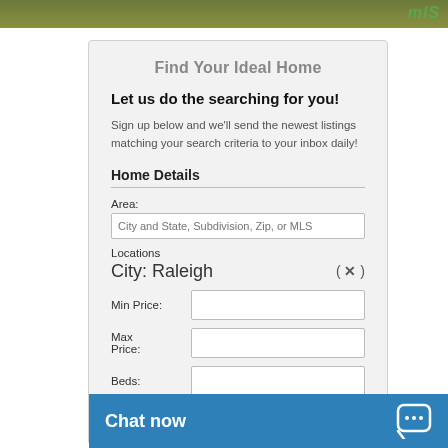[Figure (photo): Top strip showing outdoor/lawn scene with MLS logo in top right corner]
Find Your Ideal Home
Let us do the searching for you!
Sign up below and we'll send the newest listings matching your search criteria to your inbox daily!
Home Details
Area:
City and State, Subdivision, Zip, or MLS
Locations
City: Raleigh   ( ✕ )
Min Price:
Max Price:
Beds:
Baths:
Chat now